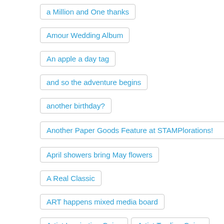a Million and One thanks
Amour Wedding Album
An apple a day tag
and so the adventure begins
another birthday?
Another Paper Goods Feature at STAMPlorations!
April showers bring May flowers
A Real Classic
ART happens mixed media board
Artist Inspiration Coins
Artist Trading Coins